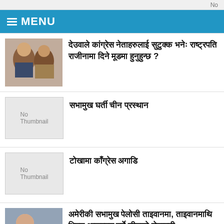No
≡ MENU
देउवाले कांग्रेस नेताहरुलाई सुटुक्क भनेः राष्ट्रपति राजीनामा दिने मूडमा हुनुहुन्छ ?
सभामुख घर्ती चीन प्रस्थान
टोखामा काँग्रेस अगाडि
अमेरीकी सभामुख पेलोसी ताइवानमा, ताइवानमाथि भिषण आक्रमण गर्ने चीनको चेतावनी